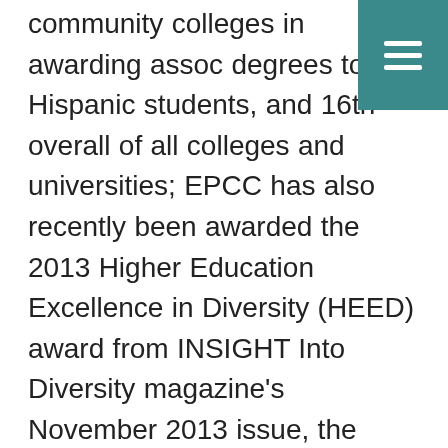[Figure (other): Teal/dark cyan hamburger menu button icon in top-right corner]
community colleges in awarding associate degrees to Hispanic students, and 16th overall of all colleges and universities; EPCC has also recently been awarded the 2013 Higher Education Excellence in Diversity (HEED) award from INSIGHT Into Diversity magazine's November 2013 issue, the oldest and largest diversity-focused publication in higher education; EPCC was also named to the coveted 2014 Military Friendly Schools ® list which names the top 20 of the colleges, universities and trade schools in the country that are doing the most to embrace America's military service members, veterans, and spouses as